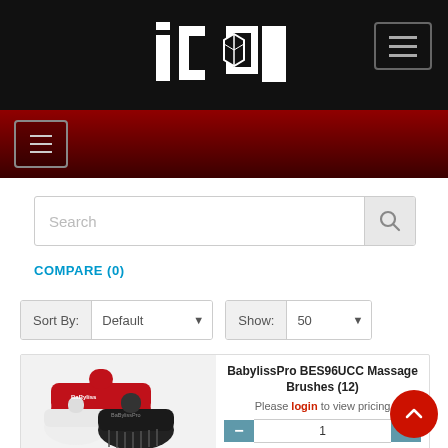ICON (logo) — website header with hamburger menu
[Figure (logo): ICON logo in white block lettering on black background header bar, with hamburger menu button on right]
[Figure (screenshot): Red gradient navigation bar with hamburger menu icon on left]
Search
COMPARE (0)
Sort By: Default   Show: 50
BabylissPro BES96UCC Massage Brushes (12)
Please login to view pricing
[Figure (photo): BabylissPro massage brushes product — red, black, and white round brushes with handles]